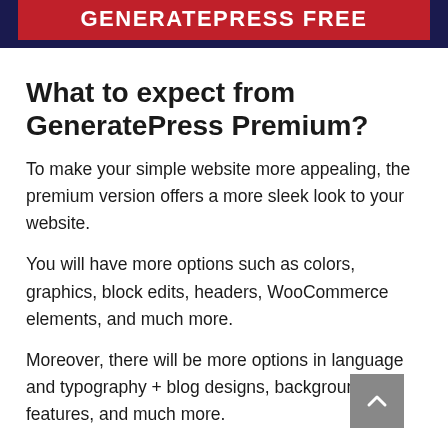GENERATEPRESS FREE
What to expect from GeneratePress Premium?
To make your simple website more appealing, the premium version offers a more sleek look to your website.
You will have more options such as colors, graphics, block edits, headers, WooCommerce elements, and much more.
Moreover, there will be more options in language and typography + blog designs, background features, and much more.
The best thing that I like about GeneratePress Pro aka